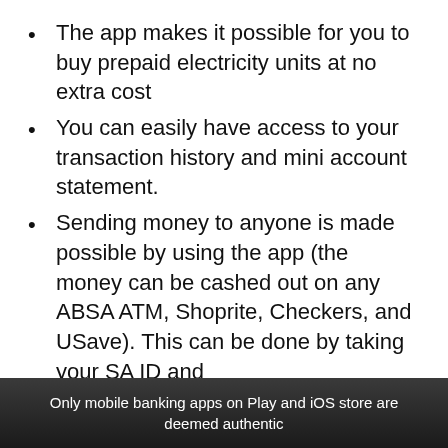The app makes it possible for you to buy prepaid electricity units at no extra cost
You can easily have access to your transaction history and mini account statement.
Sending money to anyone is made possible by using the app (the money can be cashed out on any ABSA ATM, Shoprite, Checkers, and USave). This can be done by taking your SA ID and
Only mobile banking apps on Play and iOS store are deemed authentic